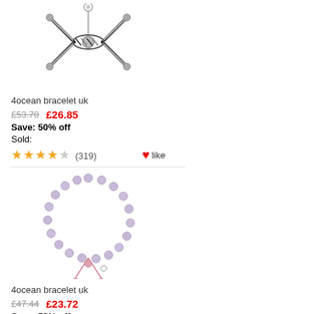[Figure (photo): Black and white braided bracelet with silver charm, adjustable style]
4ocean bracelet uk
£53.70   £26.85
Save: 50% off
Sold:
★★★★☆ (319)  ❤like
[Figure (photo): Light purple beaded bracelet with adjustable pink cord and small silver charm]
4ocean bracelet uk
£47.44   £23.72
Save: 50% off
Sold:
★★★★☆ (291)  ❤like